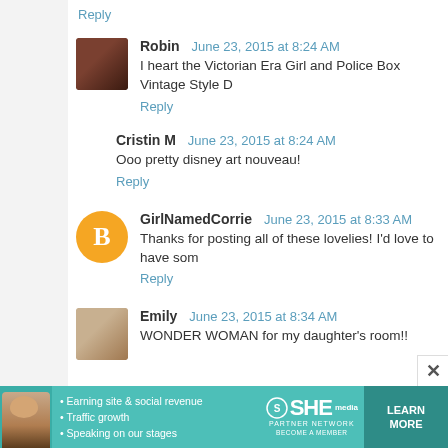Reply
Robin  June 23, 2015 at 8:24 AM
I heart the Victorian Era Girl and Police Box Vintage Style D
Reply
Cristin M  June 23, 2015 at 8:24 AM
Ooo pretty disney art nouveau!
Reply
GirlNamedCorrie  June 23, 2015 at 8:33 AM
Thanks for posting all of these lovelies! I'd love to have som
Reply
Emily  June 23, 2015 at 8:34 AM
WONDER WOMAN for my daughter's room!!
[Figure (infographic): SHE Partner Network advertisement banner with teal background, a woman's photo, bullet points about earning site & social revenue, traffic growth, speaking on our stages, SHE logo, and a Learn More button.]